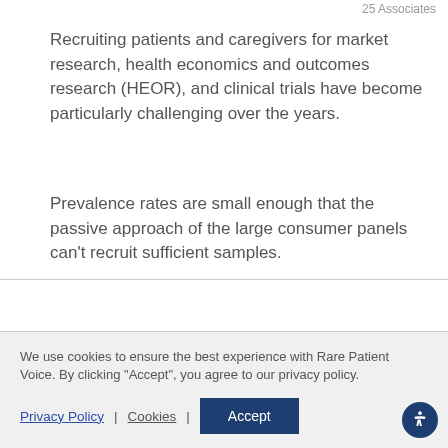25 Associates
Recruiting patients and caregivers for market research, health economics and outcomes research (HEOR), and clinical trials have become particularly challenging over the years.
Prevalence rates are small enough that the passive approach of the large consumer panels can't recruit sufficient samples.
We recruit patient and caregiver participants through the
We use cookies to ensure the best experience with Rare Patient Voice. By clicking "Accept", you agree to our privacy policy.
Privacy Policy
Cookies
Accept